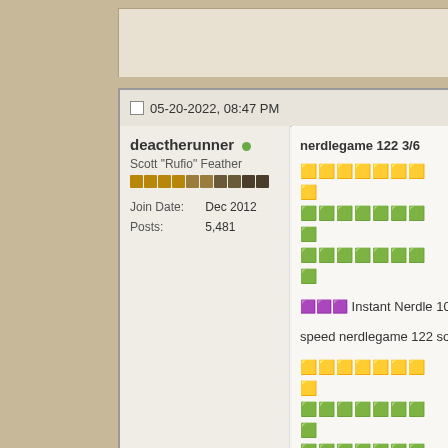05-20-2022, 08:47 PM
deactherunner
Scott "Rufio" Feather
Join Date: Dec 2012
Posts: 5,481
nerdlegame 122 3/6
🟨🟨🟨🟨🟨🟨🟨🟨
🟩🟩🟩🟩🟩🟩🟩🟩
🟩🟩🟩🟩🟩🟩🟩🟩
🟪🟪🟪 Instant Nerdle 108 solved i
speed nerdlegame 122 solved i
🟨🟨🟨🟨🟨🟨🟨🟨
🟩🟩🟩🟩🟩🟩🟩🟩
🟩🟩🟩🟩🟩🟩🟩🟩🟩
#Summle #85: 4/4
○ 🟧 ○ = 🟩
○ 🟧🟧 = 🟩
🟧🟧 ○ = 🟩
🟧🟧 ○ = 🟩
https://summle.net/
#Summle hard #85: 5/5
○ 🟧 ○ = 🟩